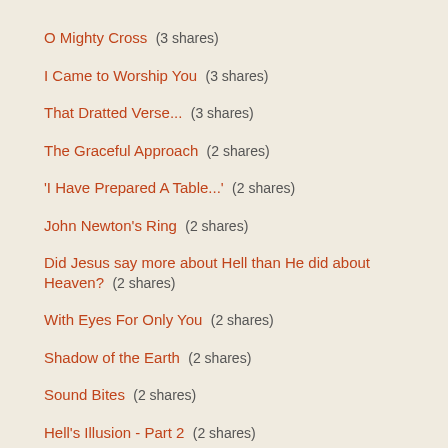O Mighty Cross  (3 shares)
I Came to Worship You  (3 shares)
That Dratted Verse...  (3 shares)
The Graceful Approach  (2 shares)
'I Have Prepared A Table...'  (2 shares)
John Newton's Ring  (2 shares)
Did Jesus say more about Hell than He did about Heaven?  (2 shares)
With Eyes For Only You  (2 shares)
Shadow of the Earth  (2 shares)
Sound Bites  (2 shares)
Hell's Illusion - Part 2  (2 shares)